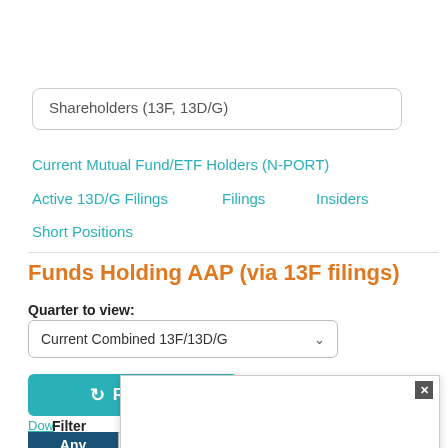Shareholders (13F, 13D/G)
Current Mutual Fund/ETF Holders (N-PORT)
Active 13D/G Filings
Filings
Insiders
Short Positions
Funds Holding AAP (via 13F filings)
Quarter to view:
Current Combined 13F/13D/G
Refresh
Download CSV
Download Excel (.xlsx)
Filter
Any
New
Closed out
Added to